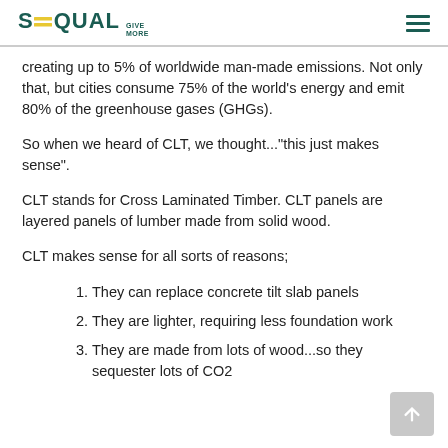SEQUAL GIVE MORE
creating up to 5% of worldwide man-made emissions. Not only that, but cities consume 75% of the world's energy and emit 80% of the greenhouse gases (GHGs).
So when we heard of CLT, we thought..."this just makes sense".
CLT stands for Cross Laminated Timber. CLT panels are layered panels of lumber made from solid wood.
CLT makes sense for all sorts of reasons;
They can replace concrete tilt slab panels
They are lighter, requiring less foundation work
They are made from lots of wood...so they sequester lots of CO2